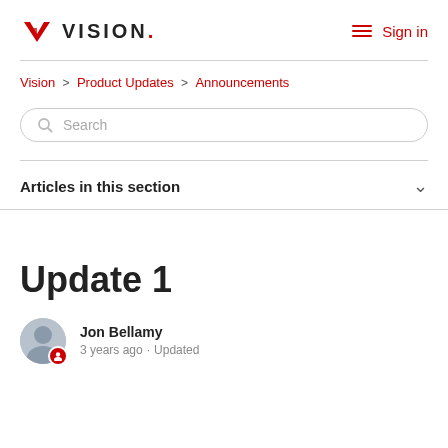VISION. Sign in
Vision > Product Updates > Announcements
Search
Articles in this section
Update 1
Jon Bellamy
3 years ago · Updated